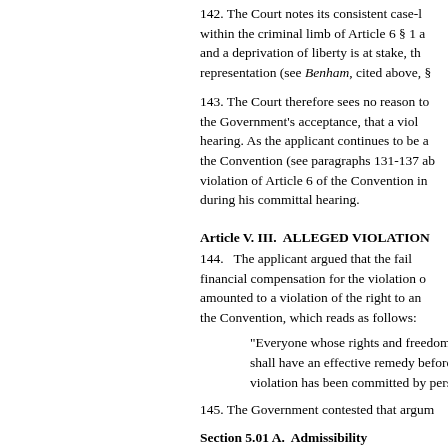142. The Court notes its consistent case-law that within the criminal limb of Article 6 § 1 a and a deprivation of liberty is at stake, the representation (see Benham, cited above, §
143. The Court therefore sees no reason to the Government's acceptance, that a viol hearing. As the applicant continues to be a the Convention (see paragraphs 131-137 al violation of Article 6 of the Convention in during his committal hearing.
Article V. III.  ALLEGED VIOLATION
144.   The applicant argued that the fail financial compensation for the violation o amounted to a violation of the right to an the Convention, which reads as follows:
"Everyone whose rights and freedom shall have an effective remedy before violation has been committed by pers
145. The Government contested that argum
Section 5.01 A.  Admissibility
146. As noted above, the Government argu